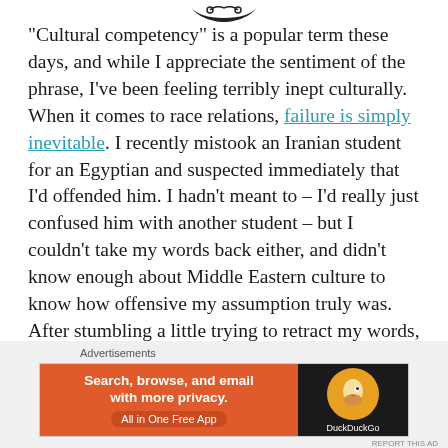[Figure (illustration): Decorative swirl/flourish ornament at top of page]
“Cultural competency” is a popular term these days, and while I appreciate the sentiment of the phrase, I’ve been feeling terribly inept culturally.  When it comes to race relations, failure is simply inevitable.  I recently mistook an Iranian student for an Egyptian and suspected immediately that I’d offended him.  I hadn’t meant to – I’d really just confused him with another student – but I couldn’t take my words back either, and didn’t know enough about Middle Eastern culture to know how offensive my assumption truly was.  After stumbling a little trying to retract my words, I fell back not on competence, but humility, “I’m sorry,” I admitted. “I didn’t know.
Advertisements
[Figure (screenshot): DuckDuckGo advertisement banner: 'Search, browse, and email with more privacy. All in One Free App' on orange background with DuckDuckGo logo on dark background]